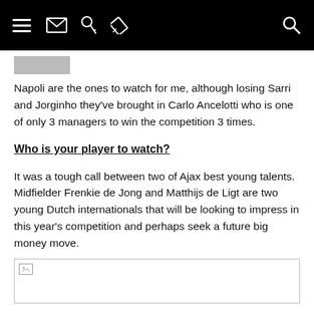[Navigation bar with hamburger menu, mail, key, pencil icons and search icon]
Napoli are the ones to watch for me, although losing Sarri and Jorginho they've brought in Carlo Ancelotti who is one of only 3 managers to win the competition 3 times.
Who is your player to watch?
It was a tough call between two of Ajax best young talents. Midfielder Frenkie de Jong and Matthijs de Ligt are two young Dutch internationals that will be looking to impress in this year's competition and perhaps seek a future big money move.
[Figure (photo): Image placeholder with broken image icon at bottom of page]